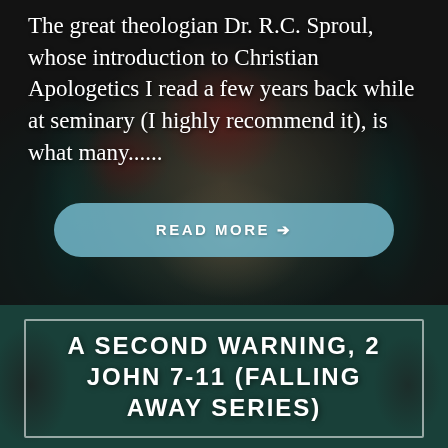The great theologian Dr. R.C. Sproul, whose introduction to Christian Apologetics I read a few years back while at seminary (I highly recommend it), is what many......
READ MORE →
A SECOND WARNING, 2 JOHN 7-11 (FALLING AWAY SERIES)